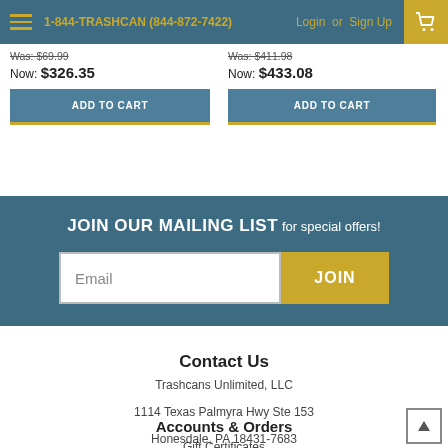1-844-TRASHCAN (844-872-7422) | Login or Sign Up
Was: $69.99
Now: $326.35
Was: $411.98
Now: $433.08
ADD TO CART
ADD TO CART
JOIN OUR MAILING LIST for special offers!
Email
JOIN
Contact Us
Trashcans Unlimited, LLC
1114 Texas Palmyra Hwy Ste 153
Honesdale, PA 18431-7683
Accounts & Orders
Gift Certificates
Wishlist